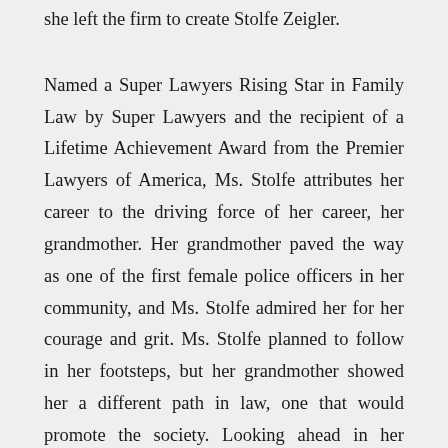she left the firm to create Stolfe Zeigler.
Named a Super Lawyers Rising Star in Family Law by Super Lawyers and the recipient of a Lifetime Achievement Award from the Premier Lawyers of America, Ms. Stolfe attributes her career to the driving force of her career, her grandmother. Her grandmother paved the way as one of the first female police officers in her community, and Ms. Stolfe admired her for her courage and grit. Ms. Stolfe planned to follow in her footsteps, but her grandmother showed her a different path in law, one that would promote the society. Looking ahead in her career, Ms. Stolfe hopes to eventually work